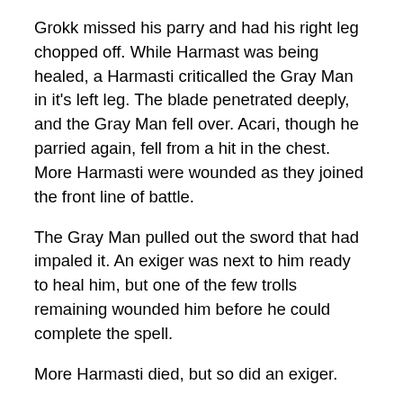Grokk missed his parry and had his right leg chopped off. While Harmast was being healed, a Harmasti criticalled the Gray Man in it's left leg. The blade penetrated deeply, and the Gray Man fell over. Acari, though he parried again, fell from a hit in the chest. More Harmasti were wounded as they joined the front line of battle.
The Gray Man pulled out the sword that had impaled it. An exiger was next to him ready to heal him, but one of the few trolls remaining wounded him before he could complete the spell.
More Harmasti died, but so did an exiger.
The battle ended after Harmast returned to battle and broke the Gray Man's flail. He then retreated off the battle field, the remaining exigers following. With both sides exhausted, a temporary truce was called.
The accounting went like this. Thirteen trolls went to their deaths, along with fourteen Harmasti. In return we